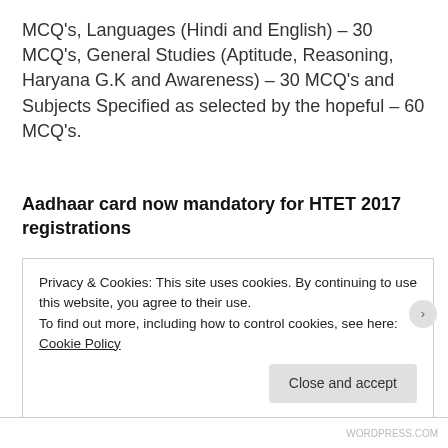MCQ's, Languages (Hindi and English) – 30 MCQ's, General Studies (Aptitude, Reasoning, Haryana G.K and Awareness) – 30 MCQ's and Subjects Specified as selected by the hopeful – 60 MCQ's.
Aadhaar card now mandatory for HTET 2017 registrations
Registration begins for VITEEE 2018: Eligibility, paper pattern and important dates
Privacy & Cookies: This site uses cookies. By continuing to use this website, you agree to their use.
To find out more, including how to control cookies, see here: Cookie Policy